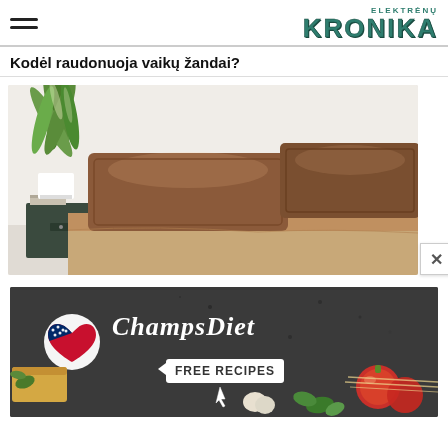ELEKTRĖNŲ KRONIKA
Kodėl raudonuoja vaikų žandai?
[Figure (photo): Bedroom scene with brown/chocolate satin pillowcases on a bed, a dark nightstand and a green potted plant on the left side, light wall in the background.]
[Figure (photo): ChampsDiet advertisement banner with dark background, showing the ChampsDiet logo with American flag heart icon, food items including tomatoes, bread, pasta, herbs and spices, and a 'FREE RECIPES' button with arrows.]